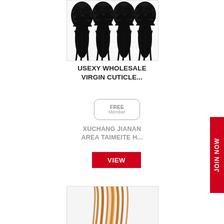[Figure (photo): Product photo of curly black hair bundles/extensions]
USEXY WHOLESALE VIRGIN CUTICLE...
[Figure (other): FREE Member badge/label with rounded rectangle border]
XUCHANG JIANAN AREA TAIMEITE H...
[Figure (other): Red VIEW button]
[Figure (other): Red JOIN NOW vertical sidebar button]
[Figure (photo): Product photo of straight brown/auburn hair extensions]